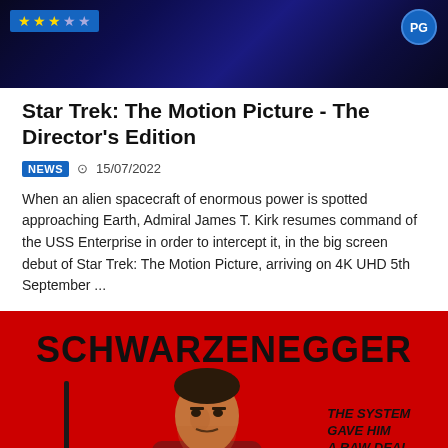[Figure (photo): Dark blue space-themed background with star rating badge (3 out of 5 stars in blue box) on left and PG rating badge on upper right]
Star Trek: The Motion Picture - The Director's Edition
NEWS  15/07/2022
When an alien spacecraft of enormous power is spotted approaching Earth, Admiral James T. Kirk resumes command of the USS Enterprise in order to intercept it, in the big screen debut of Star Trek: The Motion Picture, arriving on 4K UHD 5th September ...
[Figure (photo): Red movie poster for a Schwarzenegger film. Large bold text 'SCHWARZENEGGER' at top. Silhouette of person with weapon on left. Text reads 'THE SYSTEM GAVE HIM A RAW DEAL... NOBODY GIVES HIM' on the right side.]